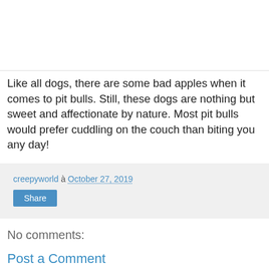[Figure (photo): Image placeholder at top of page, white background with light gray border at bottom]
Like all dogs, there are some bad apples when it comes to pit bulls. Still, these dogs are nothing but sweet and affectionate by nature. Most pit bulls would prefer cuddling on the couch than biting you any day!
creepyworld à October 27, 2019
Share
No comments:
Post a Comment